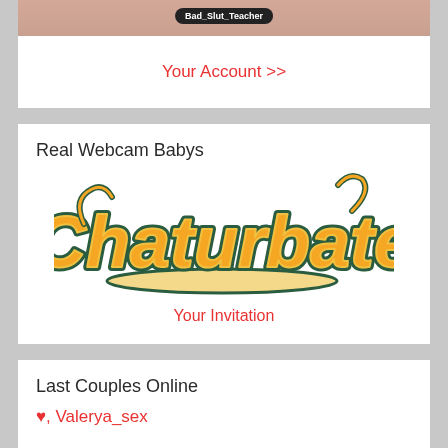[Figure (screenshot): Partial skin/photo visible at top with username badge overlay reading Bad_Slut_Teacher]
Your Account >>
Real Webcam Babys
[Figure (logo): Chaturbate logo in orange and teal script lettering]
Your Invitation
Last Couples Online
♥, Valerya_sex